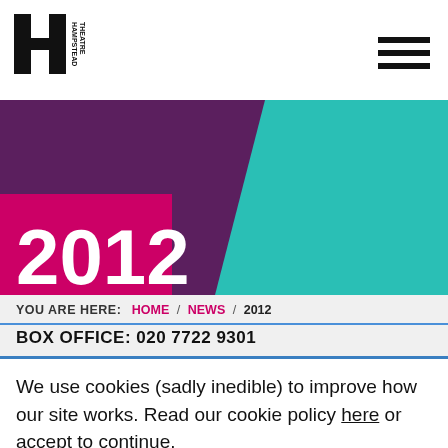[Figure (logo): Hampstead Theatre logo — stylized H with text 'HAMPSTEAD THEATRE' vertical]
[Figure (other): Hamburger menu icon — three horizontal black bars]
[Figure (other): Decorative banner with purple, teal, and pink geometric shapes and the year 2012 in white]
YOU ARE HERE:  HOME / NEWS / 2012
BOX OFFICE: 020 7722 9301
We use cookies (sadly inedible) to improve how our site works. Read our cookie policy here or accept to continue.
ACCEPT